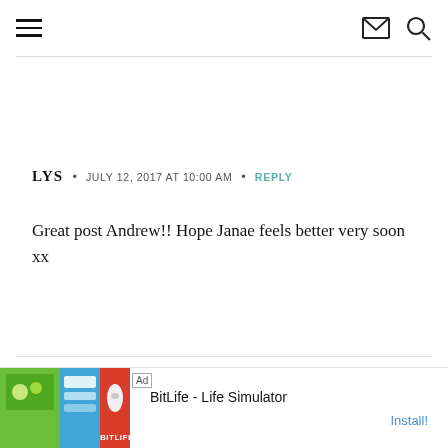Navigation header with hamburger menu, mail icon, and search icon
LYS • JULY 12, 2017 AT 10:00 AM • REPLY
Great post Andrew!! Hope Janae feels better very soon xx
[Figure (other): Advertisement banner for BitLife - Life Simulator app with colorful game screenshots and Install button]